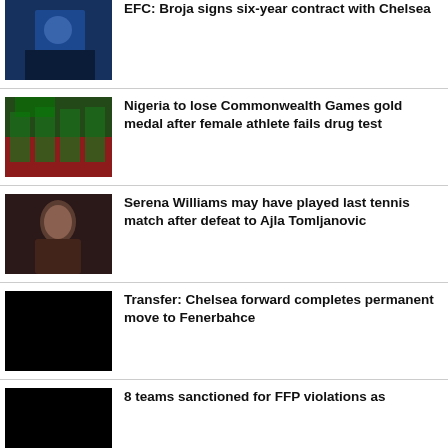[Figure (photo): Football player in Chelsea blue jersey]
EFC: Broja signs six-year contract with Chelsea
[Figure (photo): Nigerian athletes celebrating with flag]
Nigeria to lose Commonwealth Games gold medal after female athlete fails drug test
[Figure (photo): Serena Williams emotional portrait]
Serena Williams may have played last tennis match after defeat to Ajla Tomljanovic
[Figure (photo): Black image placeholder for Chelsea forward story]
Transfer: Chelsea forward completes permanent move to Fenerbahce
[Figure (photo): Black image placeholder for FFP story]
8 teams sanctioned for FFP violations as